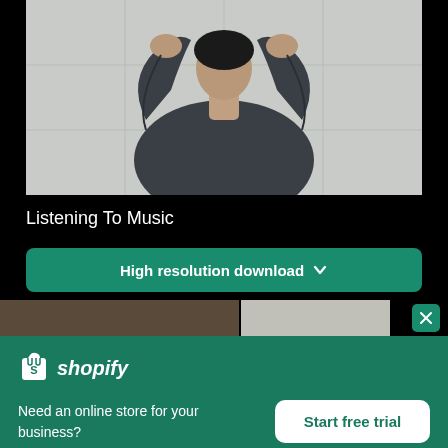[Figure (photo): Person wearing dark long-sleeve top with hands raised behind head, facing away from camera, against a light gray tiled wall]
Listening To Music
High resolution download ↓
[Figure (photo): Thumbnail strip of additional stock photos]
[Figure (logo): Shopify logo - white shopping bag icon with S and italic shopify text]
Need an online store for your business?
Start free trial